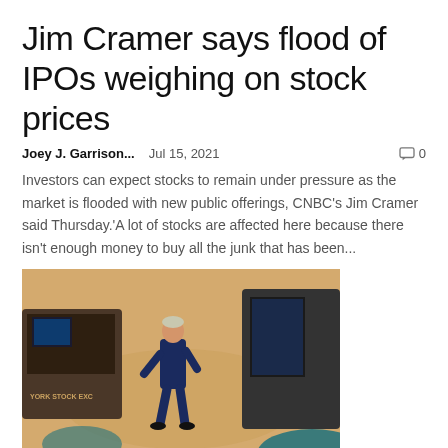Jim Cramer says flood of IPOs weighing on stock prices
Joey J. Garrison...   Jul 15, 2021   🗨 0
Investors can expect stocks to remain under pressure as the market is flooded with new public offerings, CNBC's Jim Cramer said Thursday.'A lot of stocks are affected here because there isn't enough money to buy all the junk that has been...
[Figure (photo): A trader walking on the floor of the New York Stock Exchange, viewed from above, with trading terminals and a wooden floor visible.]
Stock futures rise ahead of